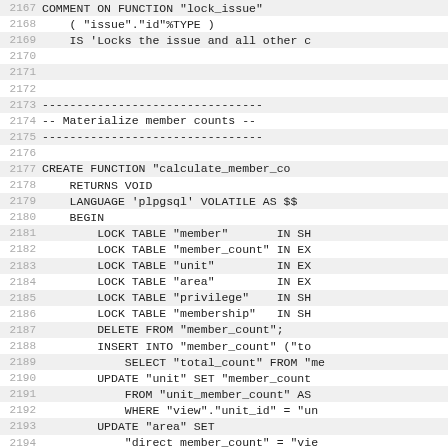Code listing lines 2167-2194, SQL/plpgsql source code
2167: COMMENT ON FUNCTION "lock_issue"
2168:     ( "issue"."id"%TYPE )
2169:     IS 'Locks the issue and all other c
2170: (empty)
2171: (empty)
2172: (empty)
2173: --------------------------------
2174: -- Materialize member counts --
2175: --------------------------------
2176: (empty)
2177: CREATE FUNCTION "calculate_member_co
2178:     RETURNS VOID
2179:     LANGUAGE 'plpgsql' VOLATILE AS $$
2180:     BEGIN
2181:         LOCK TABLE "member"       IN SH
2182:         LOCK TABLE "member_count" IN EX
2183:         LOCK TABLE "unit"          IN EX
2184:         LOCK TABLE "area"          IN EX
2185:         LOCK TABLE "privilege"     IN SH
2186:         LOCK TABLE "membership"    IN SH
2187:         DELETE FROM "member_count";
2188:         INSERT INTO "member_count" ("to
2189:             SELECT "total_count" FROM "me
2190:         UPDATE "unit" SET "member_count
2191:             FROM "unit_member_count" AS
2192:             WHERE "view"."unit_id" = "un
2193:         UPDATE "area" SET
2194:             "direct member_count" = "vie